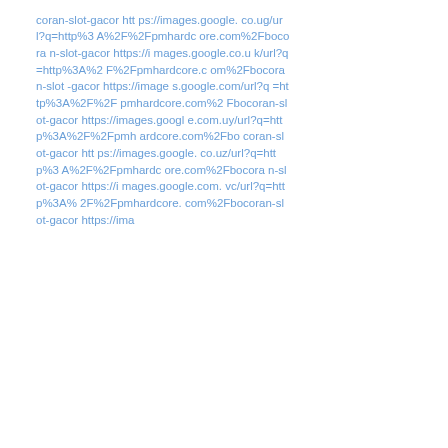coran-slot-gacor https://images.google.co.ug/url?q=http%3A%2F%2Fpmhardcore.com%2Fbocoran-slot-gacor https://images.google.co.uk/url?q=http%3A%2F%2Fpmhardcore.com%2Fbocoran-slot-gacor https://images.google.com/url?q=http%3A%2F%2Fpmhardcore.com%2Fbocoran-slot-gacor https://images.google.com.uy/url?q=http%3A%2F%2Fpmhardcore.com%2Fbocoran-slot-gacor https://images.google.co.uz/url?q=http%3A%2F%2Fpmhardcore.com%2Fbocoran-slot-gacor https://images.google.com.vc/url?q=http%3A%2F%2Fpmhardcore.com%2Fbocoran-slot-gacor https://ima